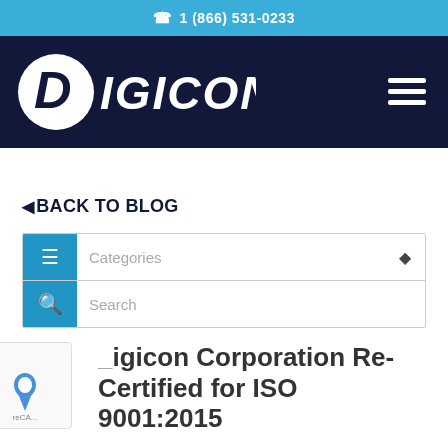☎ 1 (866) 531-0233
[Figure (logo): Digicon company logo in white on dark navy background, with hamburger menu icon on the right]
◄ BACK TO BLOG
Categories
Search
Digicon Corporation Re-Certified for ISO 9001:2015